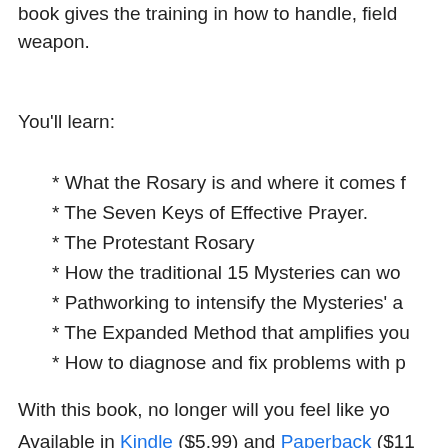book gives the training in how to handle, field weapon.
You'll learn:
* What the Rosary is and where it comes f
* The Seven Keys of Effective Prayer.
* The Protestant Rosary
* How the traditional 15 Mysteries can wo
* Pathworking to intensify the Mysteries' a
* The Expanded Method that amplifies you
* How to diagnose and fix problems with p
With this book, no longer will you feel like yo blade. Instead you'll have the tools to fine-tur it strike true.
Available in Kindle ($5.99) and Paperback ($11